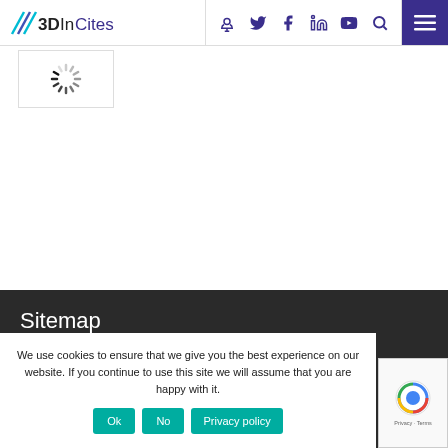3DInCites
[Figure (screenshot): Loading spinner (circular dashed animation indicator)]
Sitemap
3D In-Depth
We use cookies to ensure that we give you the best experience on our website. If you continue to use this site we will assume that you are happy with it.
Ok | No | Privacy policy